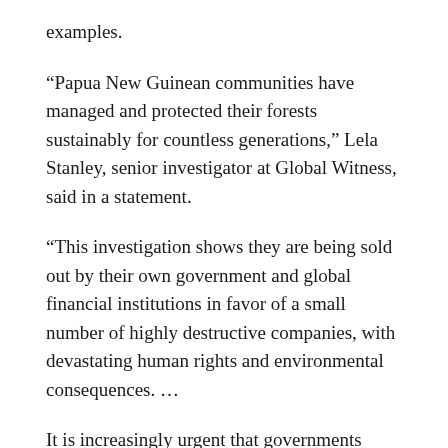examples.
“Papua New Guinean communities have managed and protected their forests sustainably for countless generations,” Lela Stanley, senior investigator at Global Witness, said in a statement.
“This investigation shows they are being sold out by their own government and global financial institutions in favor of a small number of highly destructive companies, with devastating human rights and environmental consequences. …
It is increasingly urgent that governments legislate to prevent supply chains and global financiers bankrolling deforestation and human rights abuses.”